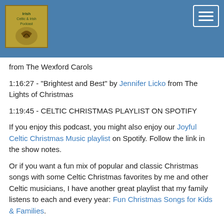Celtic Christmas Music Podcast header with logo and navigation
from The Wexford Carols
1:16:27 - "Brightest and Best" by Jennifer Licko from The Lights of Christmas
1:19:45 - CELTIC CHRISTMAS PLAYLIST ON SPOTIFY
If you enjoy this podcast, you might also enjoy our Joyful Celtic Christmas Music playlist on Spotify. Follow the link in the show notes.
Or if you want a fun mix of popular and classic Christmas songs with some Celtic Christmas favorites by me and other Celtic musicians, I have another great playlist that my family listens to each and every year: Fun Christmas Songs for Kids & Families.
1:20:45 - "Oh Come, All Ye Faithful" by Cherish the Ladies from Christmas in Ireland
Joanie Madden, Mary Coogan, Mirella Murray, Kathleen Boyle, Nollaig Casey
1:24:07 - "The Jump Ball | Whipple Hill | How We Spent the